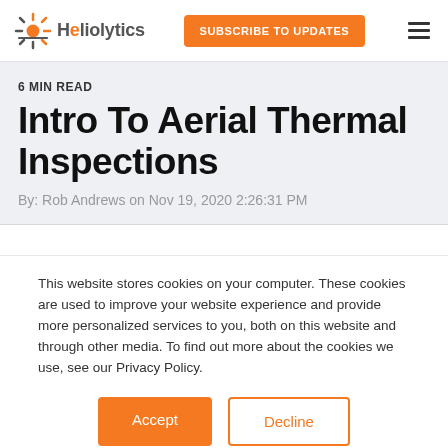[Figure (logo): Heliolytics logo with stylized sun/rays icon and brand name]
SUBSCRIBE TO UPDATES
6 MIN READ
Intro To Aerial Thermal Inspections
By: Rob Andrews on Nov 19, 2020 2:26:31 PM
This website stores cookies on your computer. These cookies are used to improve your website experience and provide more personalized services to you, both on this website and through other media. To find out more about the cookies we use, see our Privacy Policy.
Accept
Decline